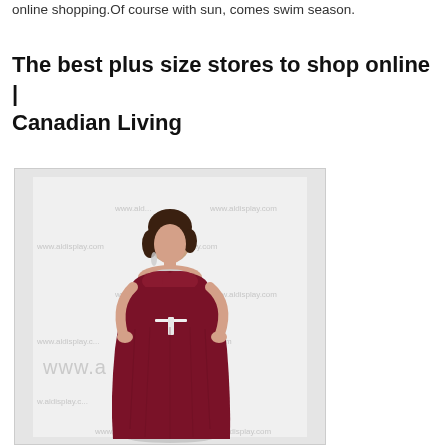online shopping. Of course with sun, comes swim season.
The best plus size stores to shop online | Canadian Living
[Figure (photo): A woman wearing a dark red/burgundy strapless floor-length dress with ruffled top and ribbon tie at waist, with watermark text 'www.a...ay.com' overlaid across the image.]